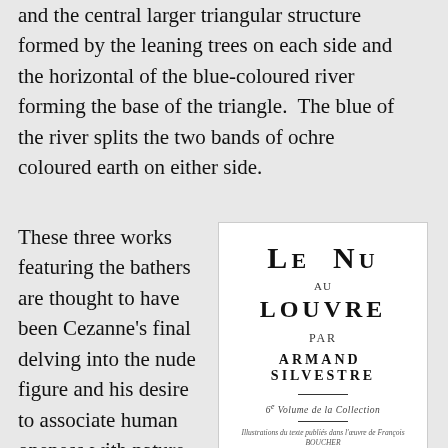and the central larger triangular structure formed by the leaning trees on each side and the horizontal of the blue-coloured river forming the base of the triangle.  The blue of the river splits the two bands of ochre coloured earth on either side.
These three works featuring the bathers are thought to have been Cezanne's final delving into the nude figure and his desire to associate human oneness with nature.  We know that Cezanne had...
[Figure (illustration): Book title page for 'Le Nu au Louvre' by Armand Silvestre, published in Paris by S. Bernard & Cie, Imprimeurs-Éditeurs. Shows title, author, series information, and publisher details in a classic typographic layout.]